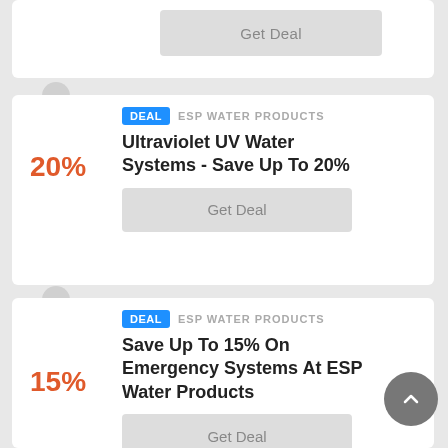Get Deal
DEAL  ESP WATER PRODUCTS
Ultraviolet UV Water Systems - Save Up To 20%
20%
Get Deal
DEAL  ESP WATER PRODUCTS
Save Up To 15% On Emergency Systems At ESP Water Products
15%
Get Deal